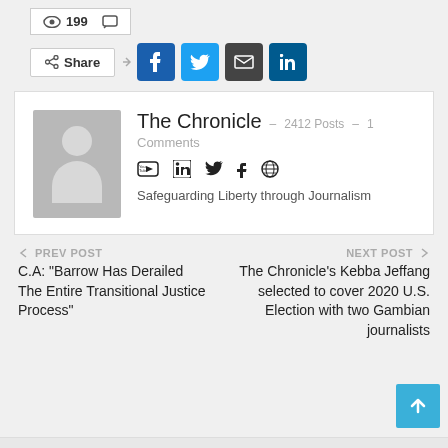199 [views] [comments]
Share [Facebook] [Twitter] [Email] [LinkedIn]
[Figure (other): Author card with avatar placeholder, name 'The Chronicle', 2412 Posts, 1 Comments, social media icons (YouTube, LinkedIn, Twitter, Facebook, Web), tagline 'Safeguarding Liberty through Journalism']
← PREV POST
C.A: "Barrow Has Derailed The Entire Transitional Justice Process"
NEXT POST →
The Chronicle's Kebba Jeffang selected to cover 2020 U.S. Election with two Gambian journalists